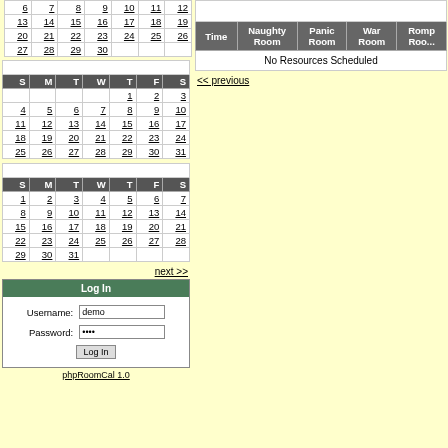| S | M | T | W | T | F | S |
| --- | --- | --- | --- | --- | --- | --- |
| 6 | 7 | 8 | 9 | 10 | 11 | 12 |
| 13 | 14 | 15 | 16 | 17 | 18 | 19 |
| 20 | 21 | 22 | 23 | 24 | 25 | 26 |
| 27 | 28 | 29 | 30 |  |  |  |
| S | M | T | W | T | F | S |
| --- | --- | --- | --- | --- | --- | --- |
|  |  |  |  | 1 | 2 | 3 |
| 4 | 5 | 6 | 7 | 8 | 9 | 10 |
| 11 | 12 | 13 | 14 | 15 | 16 | 17 |
| 18 | 19 | 20 | 21 | 22 | 23 | 24 |
| 25 | 26 | 27 | 28 | 29 | 30 | 31 |
| S | M | T | W | T | F | S |
| --- | --- | --- | --- | --- | --- | --- |
| 1 | 2 | 3 | 4 | 5 | 6 | 7 |
| 8 | 9 | 10 | 11 | 12 | 13 | 14 |
| 15 | 16 | 17 | 18 | 19 | 20 | 21 |
| 22 | 23 | 24 | 25 | 26 | 27 | 28 |
| 29 | 30 | 31 |  |  |  |  |
next >>
| Username: | demo |
| Password: | .... |
|  | Log In |
phpRoomCal 1.0
| Time | Naughty Room | Panic Room | War Room | Romp Room |
| --- | --- | --- | --- | --- |
| No Resources Scheduled |
<< previous